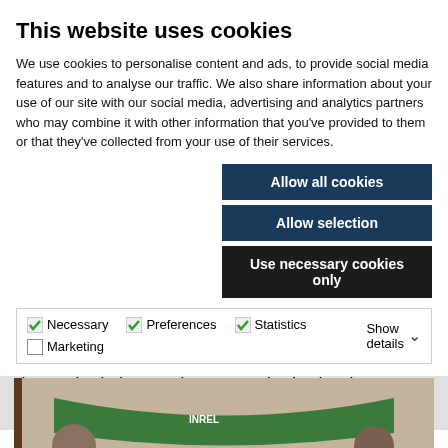This website uses cookies
We use cookies to personalise content and ads, to provide social media features and to analyse our traffic. We also share information about your use of our site with our social media, advertising and analytics partners who may combine it with other information that you've provided to them or that they've collected from your use of their services.
Allow all cookies
Allow selection
Use necessary cookies only
Necessary  Preferences  Statistics  Marketing  Show details
Frellmark Knutsson will be new chairman of Process IT Innovations. She is looking forward to promoting the region's innovative power in the basic industry.
[Figure (photo): Photo of people at an event with a green NREL banner/sign visible]